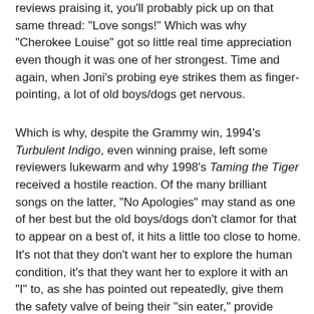reviews praising it, you'll probably pick up on that same thread: "Love songs!" Which was why "Cherokee Louise" got so little real time appreciation even though it was one of her strongest. Time and again, when Joni's probing eye strikes them as finger-pointing, a lot of old boys/dogs get nervous.
Which is why, despite the Grammy win, 1994's Turbulent Indigo, even winning praise, left some reviewers lukewarm and why 1998's Taming the Tiger received a hostile reaction. Of the many brilliant songs on the latter, "No Apologies" may stand as one of her best but the old boys/dogs don't clamor for that to appear on a best of, it hits a little too close to home.
It's not that they don't want her to explore the human condition, it's that they want her to explore it with an "I" to, as she has pointed out repeatedly, give them the safety valve of being their "sin eater," provide them with the safety release of saying, "That's her problem." "No," they can see themselves